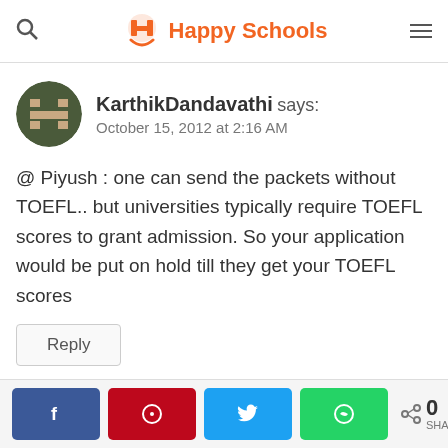Happy Schools
KarthikDandavathi says:
October 15, 2012 at 2:16 AM
@ Piyush : one can send the packets without TOEFL.. but universities typically require TOEFL scores to grant admission. So your application would be put on hold till they get your TOEFL scores
Reply
0 SHARES